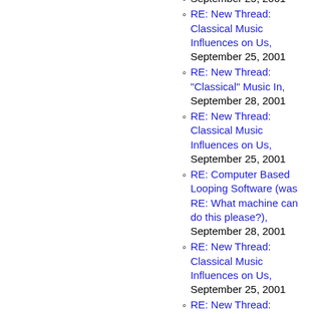RE: New Thread: Classical Music Influences on Us, September 25, 2001
RE: New Thread: "Classical" Music In, September 28, 2001
RE: New Thread: Classical Music Influences on Us, September 25, 2001
RE: Computer Based Looping Software (was RE: What machine can do this please?), September 28, 2001
RE: New Thread: Classical Music Influences on Us, September 25, 2001
RE: New Thread: "Classical" Music In, September 27, 2001
RE: Computer Based Looping Software (was RE: ...